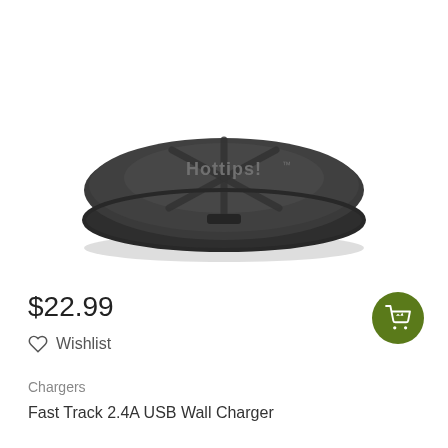[Figure (photo): Product photo of a dark gray/charcoal circular USB wall charger with the Hottips! brand logo on top, viewed from a slight angle showing the top face with a star-pattern groove design.]
$22.99
Wishlist
Chargers
Fast Track 2.4A USB Wall Charger